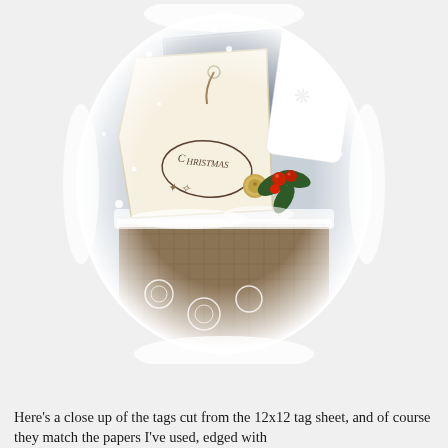[Figure (photo): Close-up photograph of vintage Christmas tags cut from a 12x12 tag sheet, decorated with lace, holly with red berries, a gold button, white filigree embellishments, and dusted with artificial snow, giving a shabby chic holiday look.]
Here's a close up of the tags cut from the 12x12 tag sheet, and of course they match the papers I've used, edged with